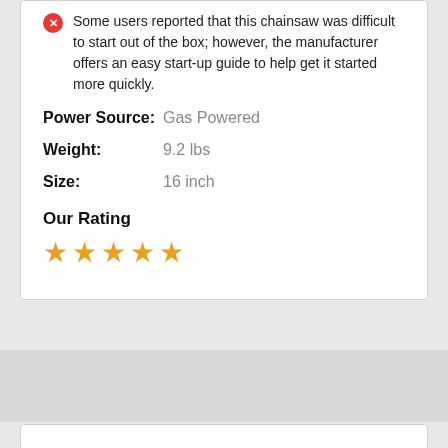Some users reported that this chainsaw was difficult to start out of the box; however, the manufacturer offers an easy start-up guide to help get it started more quickly.
Power Source: Gas Powered
Weight: 9.2 lbs
Size: 16 inch
Our Rating
[Figure (other): 5-star rating shown as 4 full gold stars and 1 partial gold star]